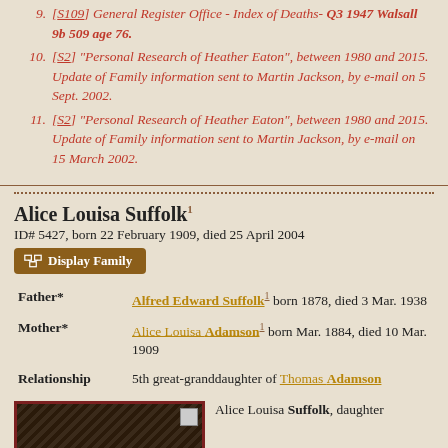9. [S109] General Register Office - Index of Deaths- Q3 1947 Walsall 9b 509 age 76.
10. [S2] "Personal Research of Heather Eaton", between 1980 and 2015. Update of Family information sent to Martin Jackson, by e-mail on 5 Sept. 2002.
11. [S2] "Personal Research of Heather Eaton", between 1980 and 2015. Update of Family information sent to Martin Jackson, by e-mail on 15 March 2002.
Alice Louisa Suffolk
ID# 5427, born 22 February 1909, died 25 April 2004
| Role | Person |
| --- | --- |
| Father* | Alfred Edward Suffolk born 1878, died 3 Mar. 1938 |
| Mother* | Alice Louisa Adamson born Mar. 1884, died 10 Mar. 1909 |
| Relationship | 5th great-granddaughter of Thomas Adamson |
Alice Louisa Suffolk, daughter